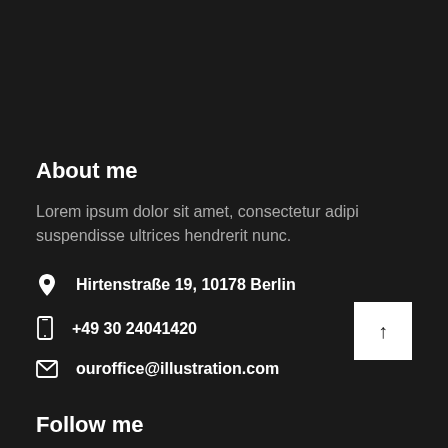About me
Lorem ipsum dolor sit amet, consectetur adipi suspendisse ultrices hendrerit nunc.
Hirtenstraße 19, 10178 Berlin
+49 30 24041420
ouroffice@illustration.com
Follow me